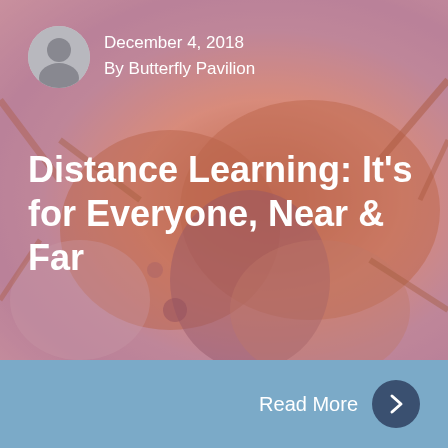[Figure (photo): Macro close-up photo of an insect (appears to be a bee or ant) with warm orange-brown tones, overlaid with a reddish-pink color tint. The background image fills most of the card area.]
December 4, 2018
By Butterfly Pavilion
Distance Learning: It’s for Everyone, Near & Far
Read More